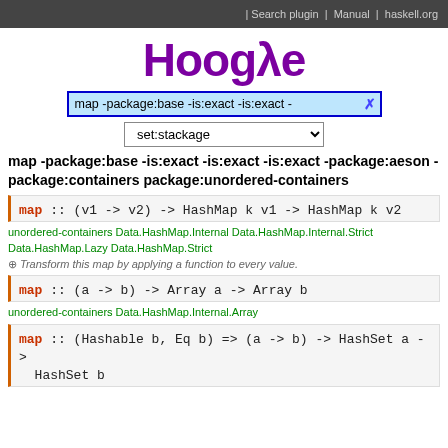Search plugin | Manual | haskell.org
Hoogle
map -package:base -is:exact -is:exact -×
set:stackage
map -package:base -is:exact -is:exact -is:exact -package:aeson -package:containers package:unordered-containers
map :: (v1 -> v2) -> HashMap k v1 -> HashMap k v2
unordered-containers Data.HashMap.Internal Data.HashMap.Internal.Strict Data.HashMap.Lazy Data.HashMap.Strict
⊕ Transform this map by applying a function to every value.
map :: (a -> b) -> Array a -> Array b
unordered-containers Data.HashMap.Internal.Array
map :: (Hashable b, Eq b) => (a -> b) -> HashSet a -> HashSet b